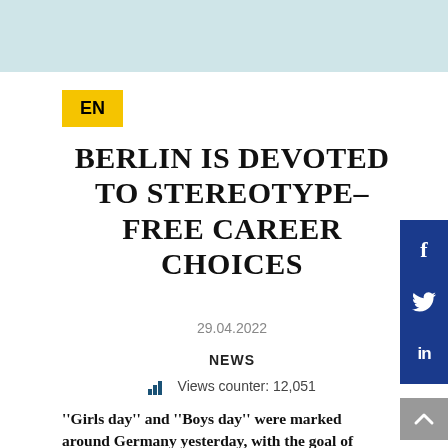EN
BERLIN IS DEVOTED TO STEREOTYPE-FREE CAREER CHOICES
29.04.2022
NEWS
Views counter: 12,051
"Girls day" and "Boys day" were marked around Germany yesterday, with the goal of promoting stereotype-free career choices